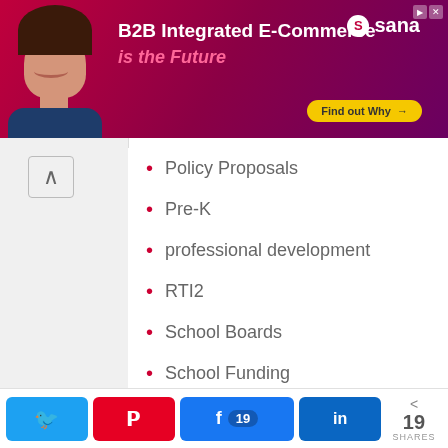[Figure (other): Advertisement banner for Sana Commerce: B2B Integrated E-Commerce is the Future. Features a woman smiling and a 'Find out Why' button.]
Policy Proposals
Pre-K
professional development
RTI2
School Boards
School Funding
School Improvement
School Nutrition
School Safety